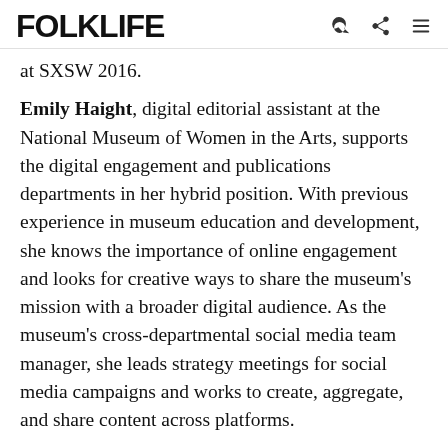FOLKLIFE
at SXSW 2016.
Emily Haight, digital editorial assistant at the National Museum of Women in the Arts, supports the digital engagement and publications departments in her hybrid position. With previous experience in museum education and development, she knows the importance of online engagement and looks for creative ways to share the museum's mission with a broader digital audience. As the museum's cross-departmental social media team manager, she leads strategy meetings for social media campaigns and works to create, aggregate, and share content across platforms.
Tatum Walker is the associate director of digital strategy at Ford's Theatre Society. She has worked in